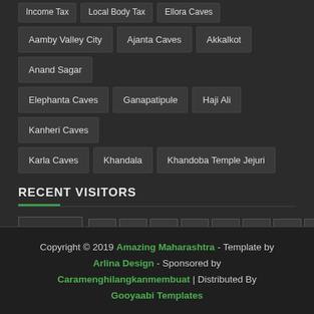Income Tax | Local Body Tax | Ellora Caves
Aamby Valley City
Ajanta Caves
Akkalkot
Anand Sagar
Elephanta Caves
Ganapatipule
Haji Ali
Kanheri Caves
Karla Caves
Khandala
Khandoba Temple Jejuri
RECENT VISITORS
[Figure (continuous-plot): Visitor traffic waveform graph showing fluctuating line pattern on dark background]
1 2 7 0 5 9 4 0
Copyright © 2019 Amazing Maharashtra - Template by Arlina Design - Sponsored by Caramenghilangkanmembuat | Distributed By Gooyaabi Templates